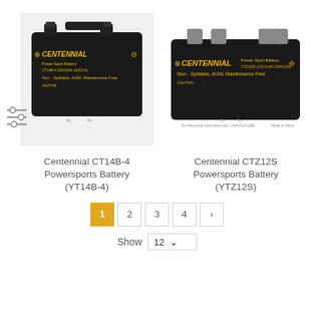[Figure (photo): Centennial CT14B-4 Powersports Battery product image - black battery with yellow Centennial branding]
[Figure (photo): Centennial CTZ12S Powersports Battery product image - black battery with yellow Centennial branding]
Centennial CT14B-4 Powersports Battery (YT14B-4)
Centennial CTZ12S Powersports Battery (YTZ12S)
1 2 3 4 >
Show 12